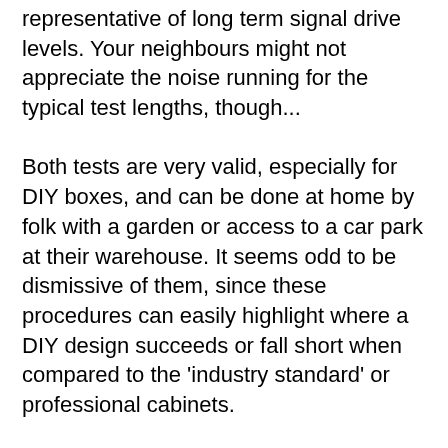representative of long term signal drive levels. Your neighbours might not appreciate the noise running for the typical test lengths, though...

Both tests are very valid, especially for DIY boxes, and can be done at home by folk with a garden or access to a car park at their warehouse. It seems odd to be dismissive of them, since these procedures can easily highlight where a DIY design succeeds or fall short when compared to the 'industry standard' or professional cabinets.
toastyghost 01 February 2022 at 5:03pm
Quote  Reply
Pictures tell a thousand words and all that... plus this has been floating about on my hard drive for a couple of months, so might as well share...